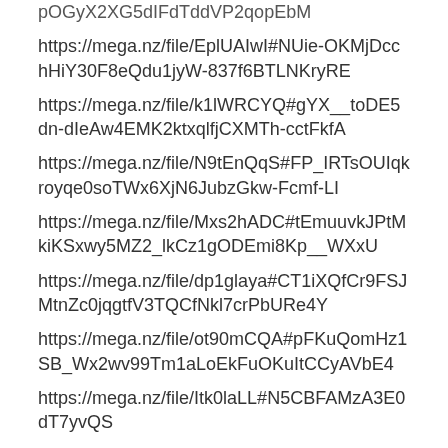pOGyX2XG5dIFdTddVP2qopEbM
https://mega.nz/file/EplUAIwI#NUie-OKMjDcchHiY30F8eQdu1jyW-837f6BTLNKryRE
https://mega.nz/file/k1lWRCYQ#gYX__toDE5dn-dIeAw4EMK2ktxqlfjCXMTh-cctFkfA
https://mega.nz/file/N9tEnQqS#FP_IRTsOUIqkroyqe0soTWx6XjN6JubzGkw-Fcmf-LI
https://mega.nz/file/Mxs2hADC#tEmuuvkJPtMkiKSxwy5MZ2_lkCz1gODEmi8Kp__WXxU
https://mega.nz/file/dp1glaya#CT1iXQfCr9FSJMtnZc0jqgtfV3TQCfNkl7crPbURe4Y
https://mega.nz/file/ot90mCQA#pFKuQomHz1SB_Wx2wv99Tm1aLoEkFuOKuItCCyAVbE4
https://mega.nz/file/Itk0laLL#N5CBFAMzA3E0dT7yvQS